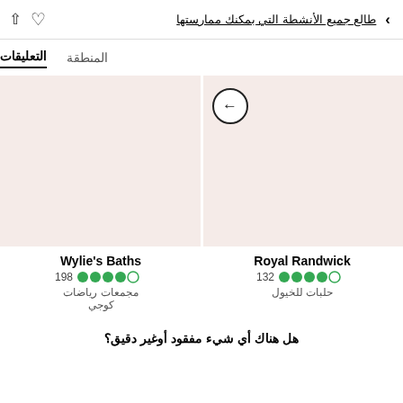طالع جميع الأنشطة التي بمكنك ممارستها
التعليقات   المنطقة
[Figure (screenshot): Two card image placeholders side by side with pinkish background, left card has a back arrow button]
Royal Randwick
132 ★★★★☆
حلبات للخيول
Wylie's Baths
198 ★★★★½
مجمعات رياضات
كوجي
هل هناك أي شيء مفقود أوغير دقيق؟